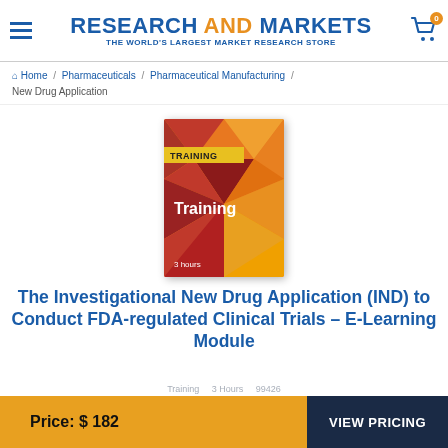RESEARCH AND MARKETS — THE WORLD'S LARGEST MARKET RESEARCH STORE
Home / Pharmaceuticals / Pharmaceutical Manufacturing / New Drug Application
[Figure (photo): Training course book cover with geometric diamond pattern in red, orange, yellow colors. Contains 'TRAINING' label at top and 'Training' text in center, '3 hours' at bottom.]
The Investigational New Drug Application (IND) to Conduct FDA-regulated Clinical Trials – E-Learning Module
Price: $182
VIEW PRICING